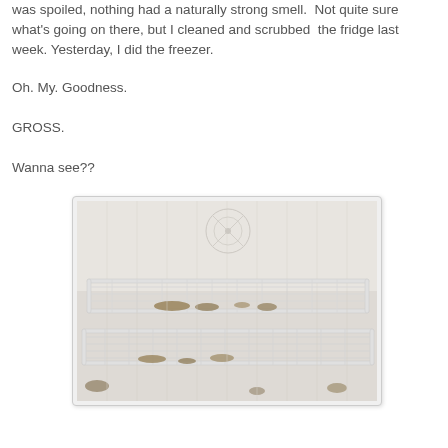was spoiled, nothing had a naturally strong smell. Not quite sure what's going on there, but I cleaned and scrubbed the fridge last week. Yesterday, I did the freezer.
Oh. My. Goodness.
GROSS.
Wanna see??
[Figure (photo): Interior of a dirty freezer showing wire racks with brown stains and debris on an otherwise white interior.]